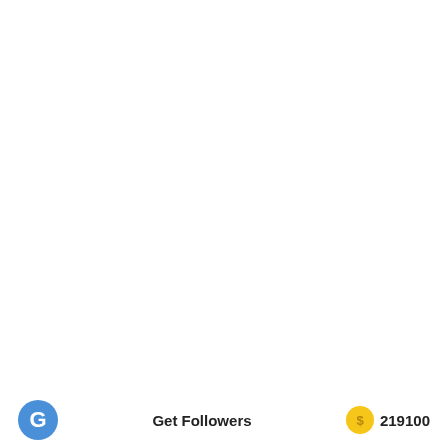[Figure (screenshot): Mostly white/blank app screen with a bottom bar showing a blue circular icon with letter G, the text 'Get Followers', a yellow coin icon, and the number 219100]